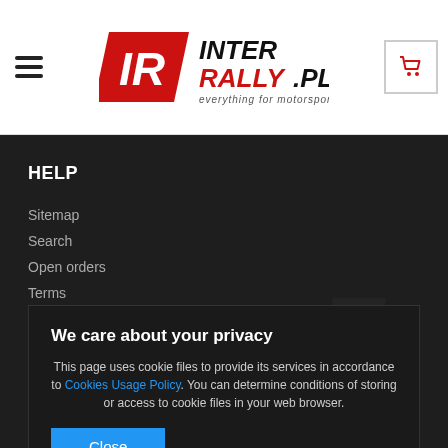[Figure (logo): InterRally.pl logo - red and black stylized IR letters with text 'INTER RALLY.PL everything for motorsport']
HELP
Sitemap
Search
Open orders
Terms
Privacy and cookie notice
We care about your privacy
This page uses cookie files to provide its services in accordance to Cookies Usage Policy. You can determine conditions of storing or access to cookie files in your web browser.
Close
Basket